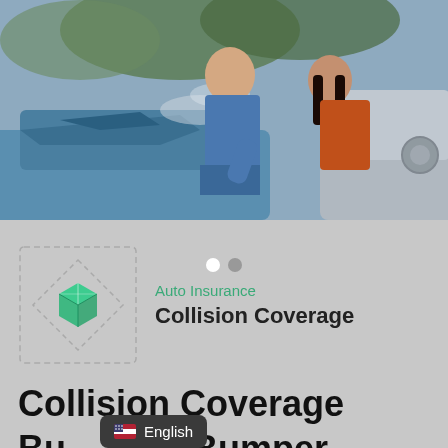[Figure (photo): Two people examining car damage after a collision — a man in a blue shirt leaning over the hood and a woman in an orange top looking on]
[Figure (logo): Green 3D cube / diamond-shaped insurance brand icon inside a dashed square placeholder]
Auto Insurance
Collision Coverage
Collision Coverage Bumper-to-Bumper
English